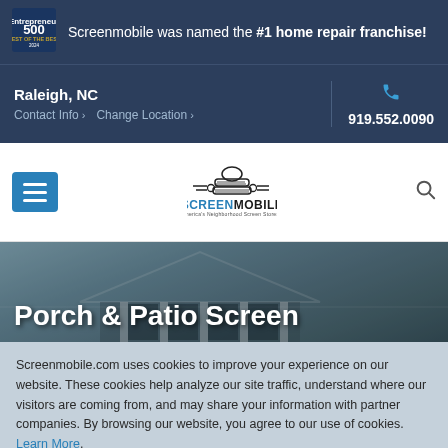Screenmobile was named the #1 home repair franchise!
Raleigh, NC
Contact Info › Change Location ›
919.552.0090
[Figure (logo): Screenmobile logo with screen icon and tagline: America's Neighborhood Screen Stores]
[Figure (photo): Hero image of a porch with screen enclosure on a house]
Porch & Patio Screen
Screenmobile.com uses cookies to improve your experience on our website. These cookies help analyze our site traffic, understand where our visitors are coming from, and may share your information with partner companies. By browsing our website, you agree to our use of cookies. Learn More.